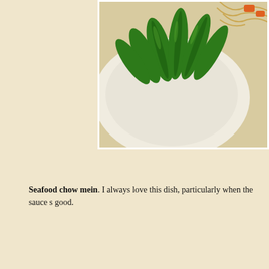[Figure (photo): Top portion of a food photo showing a white plate with bright green bok choy or similar leafy vegetable and noodles, partially cropped at top of page.]
Seafood chow mein. I always love this dish, particularly when the sauce s good.
[Figure (photo): Two wine bottles close-up. The left bottle has a white label reading '2001' with decorative elements. The right bottle has a black decorative wrap with a tag reading 'Vins Rare.com'. Bottles have red capsules on top.]